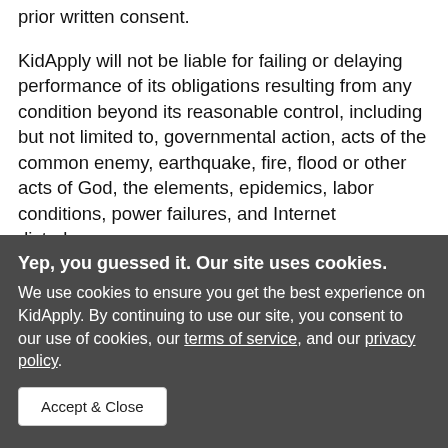prior written consent.
KidApply will not be liable for failing or delaying performance of its obligations resulting from any condition beyond its reasonable control, including but not limited to, governmental action, acts of the common enemy, earthquake, fire, flood or other acts of God, the elements, epidemics, labor conditions, power failures, and Internet disturbances.
KidApply may take any legal action against you to
Yep, you guessed it. Our site uses cookies. We use cookies to ensure you get the best experience on KidApply. By continuing to use our site, you consent to our use of cookies, our terms of service, and our privacy policy. Accept & Close